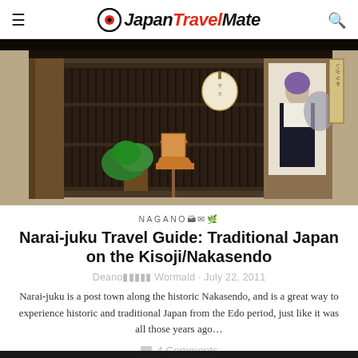JapanTravelMate
[Figure (photo): Traditional Japanese shopfront with wooden lattice facade, hanging paper lantern, wooden shrine-style lantern on a post, green potted plant, and a noren curtain with ukiyo-e artwork depicting a kabuki figure]
NAGANO 🏔️⛩️🌿
Narai-juku Travel Guide: Traditional Japan on the Kisoji/Nakasendo
Deano■■■■■ Wormald · July 22, 2011
Narai-juku is a post town along the historic Nakasendo, and is a great way to experience historic and traditional Japan from the Edo period, just like it was all those years ago…
4 Comments